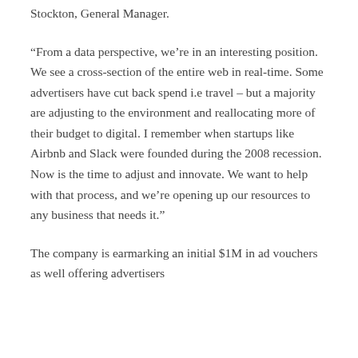Stockton, General Manager.
“From a data perspective, we’re in an interesting position. We see a cross-section of the entire web in real-time. Some advertisers have cut back spend i.e travel – but a majority are adjusting to the environment and reallocating more of their budget to digital. I remember when startups like Airbnb and Slack were founded during the 2008 recession. Now is the time to adjust and innovate. We want to help with that process, and we’re opening up our resources to any business that needs it.”
The company is earmarking an initial $1M in ad vouchers as well offering advertisers